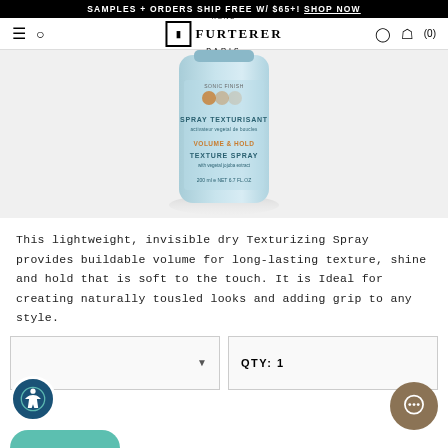SAMPLES + ORDERS SHIP FREE W/ $65+! SHOP NOW
[Figure (logo): René Furterer Paris logo with cross icon]
[Figure (photo): René Furterer Spray Texturisant / Volume & Hold Texture Spray product bottle, 200ml / 6.7 FL.OZ, light blue bottle]
This lightweight, invisible dry Texturizing Spray provides buildable volume for long-lasting texture, shine and hold that is soft to the touch. It is Ideal for creating naturally tousled looks and adding grip to any style.
QTY: 1